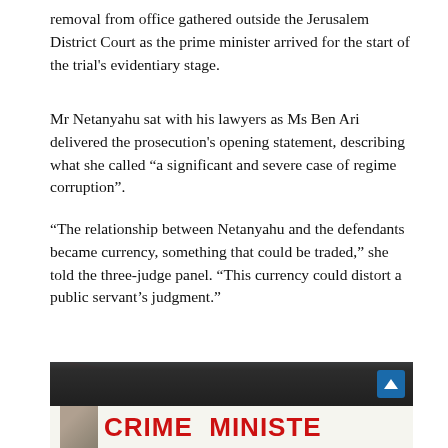removal from office gathered outside the Jerusalem District Court as the prime minister arrived for the start of the trial's evidentiary stage.
Mr Netanyahu sat with his lawyers as Ms Ben Ari delivered the prosecution's opening statement, describing what she called “a significant and severe case of regime corruption”.
“The relationship between Netanyahu and the defendants became currency, something that could be traded,” she told the three-judge panel. “This currency could distort a public servant’s judgment.”
[Figure (photo): Protesters outside Jerusalem District Court holding 'Crime Minister' signs and banners with Netanyahu's image, during the start of his trial's evidentiary stage.]